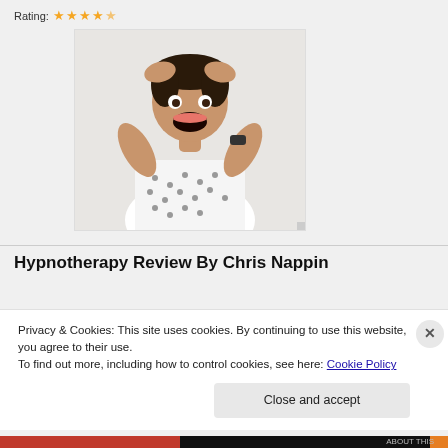Rating: ★★★★½
[Figure (photo): Woman with hands on head, mouth open in excited/stressed expression, wearing white polka dot shirt, against white background]
Hypnotherapy Review By Chris Nappin
Privacy & Cookies: This site uses cookies. By continuing to use this website, you agree to their use.
To find out more, including how to control cookies, see here: Cookie Policy
Close and accept